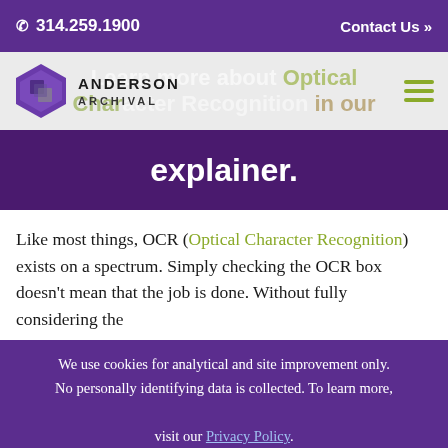📞 314.259.1900   Contact Us »
[Figure (logo): Anderson Archival logo with purple hexagon icon and company name]
Learn more about Optical Character Recognition in our explainer.
Like most things, OCR (Optical Character Recognition) exists on a spectrum. Simply checking the OCR box doesn't mean that the job is done. Without fully considering the
We use cookies for analytical and site improvement only. No personally identifying data is collected. To learn more, visit our Privacy Policy.